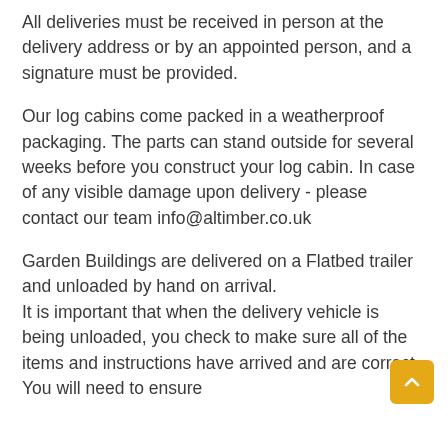All deliveries must be received in person at the delivery address or by an appointed person, and a signature must be provided.
Our log cabins come packed in a weatherproof packaging. The parts can stand outside for several weeks before you construct your log cabin. In case of any visible damage upon delivery - please contact our team info@altimber.co.uk
Garden Buildings are delivered on a Flatbed trailer and unloaded by hand on arrival.
It is important that when the delivery vehicle is being unloaded, you check to make sure all of the items and instructions have arrived and are correct.
You will need to ensure...